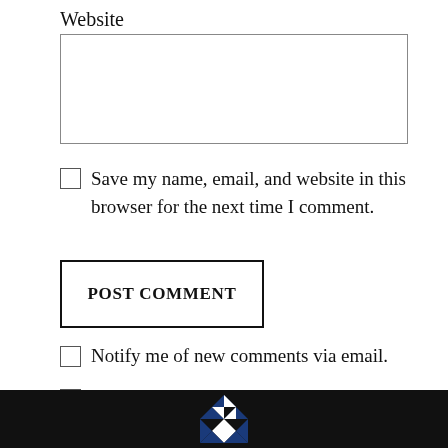Website
[Figure (other): Empty website input text field with border]
Save my name, email, and website in this browser for the next time I comment.
POST COMMENT
Notify me of new comments via email.
Notify me of new posts via email.
[Figure (logo): Blue and white geometric diamond/quilt pattern logo in dark footer bar]